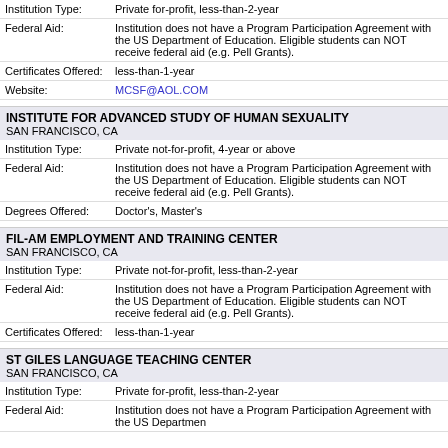| Field | Value |
| --- | --- |
| Institution Type: | Private for-profit, less-than-2-year |
| Federal Aid: | Institution does not have a Program Participation Agreement with the US Department of Education. Eligible students can NOT receive federal aid (e.g. Pell Grants). |
| Certificates Offered: | less-than-1-year |
| Website: | MCSF@AOL.COM |
INSTITUTE FOR ADVANCED STUDY OF HUMAN SEXUALITY
SAN FRANCISCO, CA
| Field | Value |
| --- | --- |
| Institution Type: | Private not-for-profit, 4-year or above |
| Federal Aid: | Institution does not have a Program Participation Agreement with the US Department of Education. Eligible students can NOT receive federal aid (e.g. Pell Grants). |
| Degrees Offered: | Doctor's, Master's |
FIL-AM EMPLOYMENT AND TRAINING CENTER
SAN FRANCISCO, CA
| Field | Value |
| --- | --- |
| Institution Type: | Private not-for-profit, less-than-2-year |
| Federal Aid: | Institution does not have a Program Participation Agreement with the US Department of Education. Eligible students can NOT receive federal aid (e.g. Pell Grants). |
| Certificates Offered: | less-than-1-year |
ST GILES LANGUAGE TEACHING CENTER
SAN FRANCISCO, CA
| Field | Value |
| --- | --- |
| Institution Type: | Private for-profit, less-than-2-year |
| Federal Aid: | Institution does not have a Program Participation Agreement with the US Department of Education. |